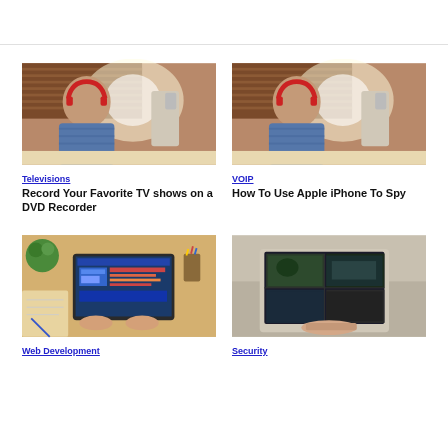[Figure (photo): Person with red headphones working at laptop - Televisions article]
Televisions
Record Your Favorite TV shows on a DVD Recorder
[Figure (photo): Person with red headphones working at laptop - VOIP article]
VOIP
How To Use Apple iPhone To Spy
[Figure (photo): Laptop with web development dashboard viewed from above]
Web Development
[Figure (photo): Laptop showing security camera footage]
Security